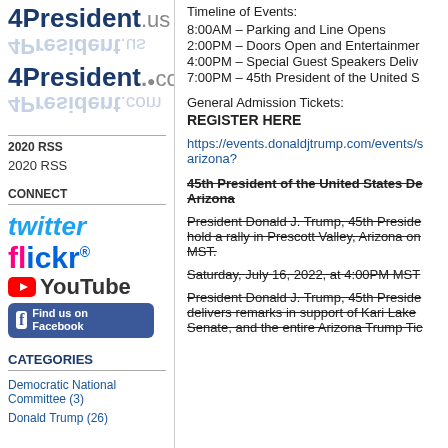[Figure (logo): 4President.us logo with reflection]
[Figure (logo): 4President.com logo with reflection]
2020 RSS
2020 RSS
CONNECT
[Figure (logo): Twitter, Flickr, YouTube, and Facebook social media logos]
CATEGORIES
Democratic National Committee (3)
Donald Trump (26)
Timeline of Events:
8:00AM – Parking and Line Opens
2:00PM – Doors Open and Entertainment
4:00PM – Special Guest Speakers Deliver
7:00PM – 45th President of the United S
General Admission Tickets:
REGISTER HERE
https://events.donaldjtrump.com/events/s arizona?
45th President of the United States De... Arizona
President Donald J. Trump, 45th Preside... hold a rally in Prescott Valley, Arizona on... MST.
Saturday, July 16, 2022, at 4:00PM MST
President Donald J. Trump, 45th Preside... delivers remarks in support of Kari Lake... Senate, and the entire Arizona Trump Ti...